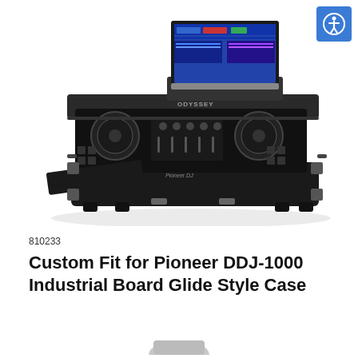[Figure (photo): Black DJ flight case with glide tray open, Pioneer DDJ-1000 controller seated inside, and a laptop open on top showing DJ software. The case has wheels and handles, with the front panel removed to reveal the controller.]
810233
Custom Fit for Pioneer DDJ-1000 Industrial Board Glide Style Case